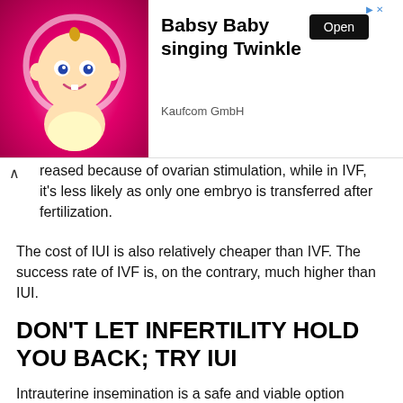[Figure (other): Advertisement banner for 'Babsy Baby singing Twinkle' app by Kaufcom GmbH with an Open button and a cartoon baby image on pink background]
reased because of ovarian stimulation, while in IVF, it's less likely as only one embryo is transferred after fertilization.
The cost of IUI is also relatively cheaper than IVF. The success rate of IVF is, on the contrary, much higher than IUI.
DON'T LET INFERTILITY HOLD YOU BACK; TRY IUI
Intrauterine insemination is a safe and viable option